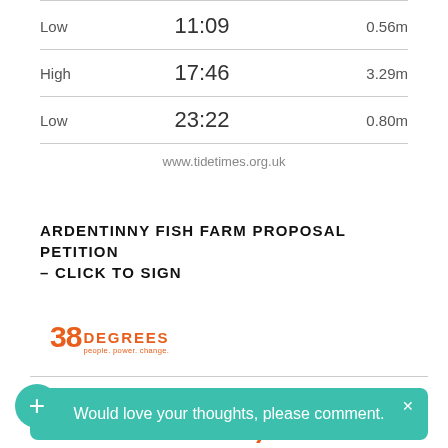|  | Time | Height |
| --- | --- | --- |
| Low | 11:09 | 0.56m |
| High | 17:46 | 3.29m |
| Low | 23:22 | 0.80m |
www.tidetimes.org.uk
ARDENTINNY FISH FARM PROPOSAL PETITION – CLICK TO SIGN
[Figure (logo): 38 Degrees logo — people. power. change.]
To: Loch Lomond & Trossachs National Park and Local Planning Authorities and the Scottish Government
Would love your thoughts, please comment.